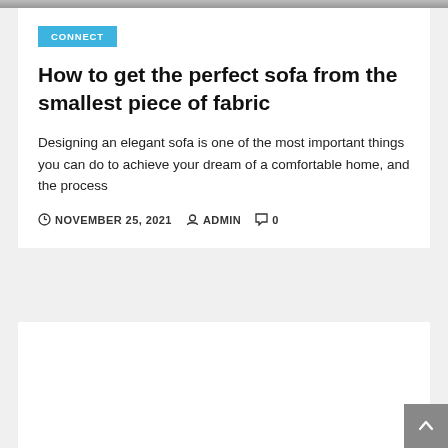[Figure (photo): Top image strip — partial photo of a room/sofa scene, cropped to a thin bar at the top of the page]
CONNECT
How to get the perfect sofa from the smallest piece of fabric
Designing an elegant sofa is one of the most important things you can do to achieve your dream of a comfortable home, and the process
NOVEMBER 25, 2021   ADMIN   0